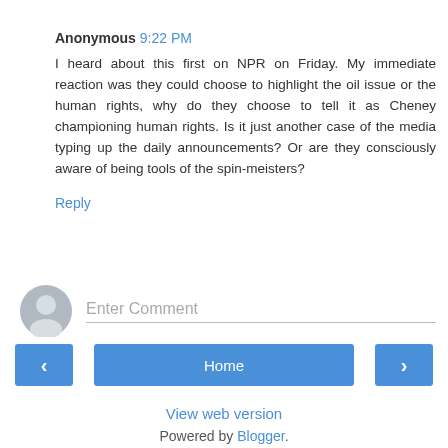Anonymous 9:22 PM
I heard about this first on NPR on Friday. My immediate reaction was they could choose to highlight the oil issue or the human rights, why do they choose to tell it as Cheney championing human rights. Is it just another case of the media typing up the daily announcements? Or are they consciously aware of being tools of the spin-meisters?
Reply
[Figure (illustration): Gray user avatar icon circle]
Enter Comment
< (previous navigation button)
Home
> (next navigation button)
View web version
Powered by Blogger.